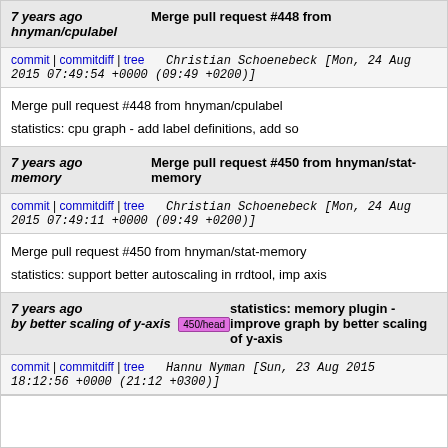7 years ago hnyman/cpulabel | Merge pull request #448 from hnyman/cpulabel
commit | commitdiff | tree   Christian Schoenebeck [Mon, 24 Aug 2015 07:49:54 +0000 (09:49 +0200)]
Merge pull request #448 from hnyman/cpulabel

statistics: cpu graph - add label definitions, add so
7 years ago memory | Merge pull request #450 from hnyman/stat-memory
commit | commitdiff | tree   Christian Schoenebeck [Mon, 24 Aug 2015 07:49:11 +0000 (09:49 +0200)]
Merge pull request #450 from hnyman/stat-memory

statistics: support better autoscaling in rrdtool, imp axis
7 years ago by better scaling of y-axis 450/head | statistics: memory plugin - improve graph by better scaling of y-axis
commit | commitdiff | tree   Hannu Nyman [Sun, 23 Aug 2015 18:12:56 +0000 (21:12 +0300)]